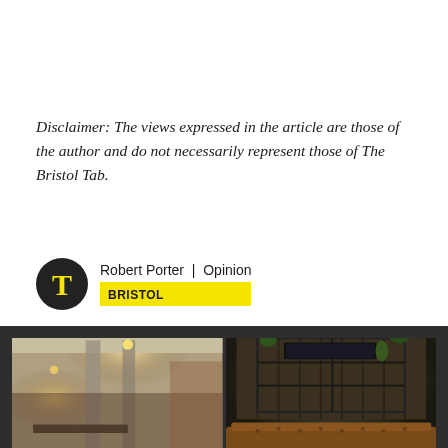Disclaimer: The views expressed in the article are those of the author and do not necessarily represent those of The Bristol Tab.
Robert Porter | Opinion
BRISTOL
[Figure (photo): Two side-by-side interior photos of a modern industrial-style space. Left photo shows a loft interior with exposed ceiling, pendant lights, concrete columns, and a pool table. Right photo shows a living area with a TV mounted on a wood-slat wall with shelving units, plants, and a leather Chesterfield sofa in the foreground.]